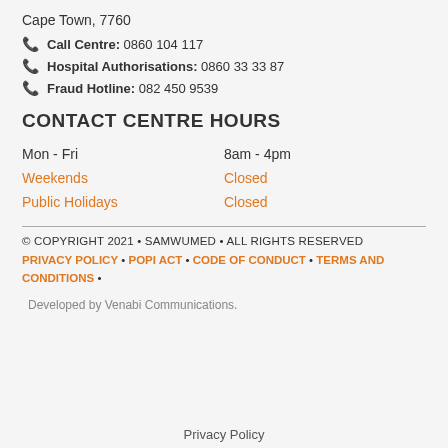Cape Town, 7760
Call Centre: 0860 104 117
Hospital Authorisations: 0860 33 33 87
Fraud Hotline: 082 450 9539
CONTACT CENTRE HOURS
| Day | Hours |
| --- | --- |
| Mon - Fri | 8am - 4pm |
| Weekends | Closed |
| Public Holidays | Closed |
© COPYRIGHT 2021 • SAMWUMED • ALL RIGHTS RESERVED
PRIVACY POLICY • POPI ACT • CODE OF CONDUCT • TERMS AND CONDITIONS •
Developed by Venabi Communications.
Privacy Policy